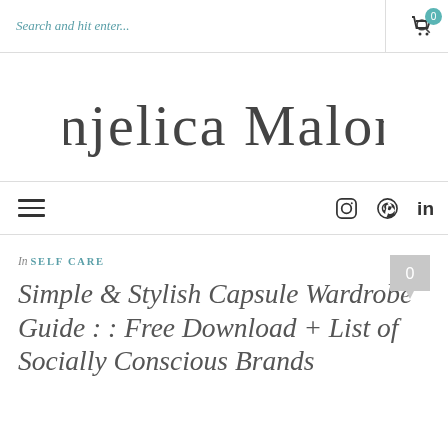Search and hit enter...  [search icon]  [cart icon with badge 0]
[Figure (logo): Anjelica Malone handwritten script logo]
Hamburger menu icon, Instagram icon, Pinterest icon, LinkedIn icon
In SELF CARE
Simple & Stylish Capsule Wardrobe Guide : : Free Download + List of Socially Conscious Brands